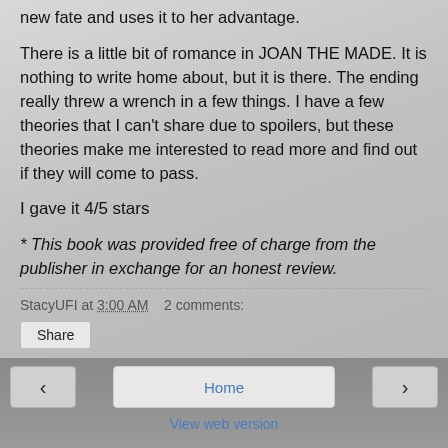new fate and uses it to her advantage.
There is a little bit of romance in JOAN THE MADE. It is nothing to write home about, but it is there. The ending really threw a wrench in a few things. I have a few theories that I can't share due to spoilers, but these theories make me interested to read more and find out if they will come to pass.
I gave it 4/5 stars
* This book was provided free of charge from the publisher in exchange for an honest review.
StacyUFI at 3:00 AM    2 comments:
Share
Home
View web version